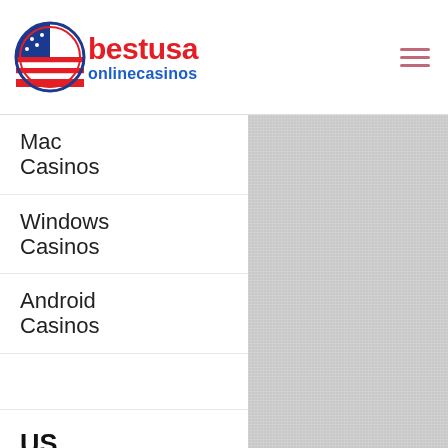[Figure (logo): BestUSA Online Casinos logo with circular US flag icon and red/blue text]
Mac Casinos
Windows Casinos
Android Casinos
US Casinos
California
Florida
Nevada
New